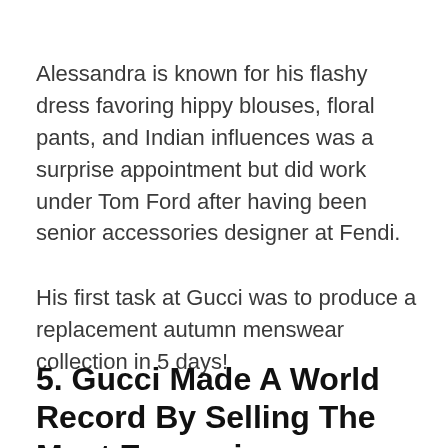Alessandra is known for his flashy dress favoring hippy blouses, floral pants, and Indian influences was a surprise appointment but did work under Tom Ford after having been senior accessories designer at Fendi.
His first task at Gucci was to produce a replacement autumn menswear collection in 5 days!
5. Gucci Made A World Record By Selling The Most Expensive